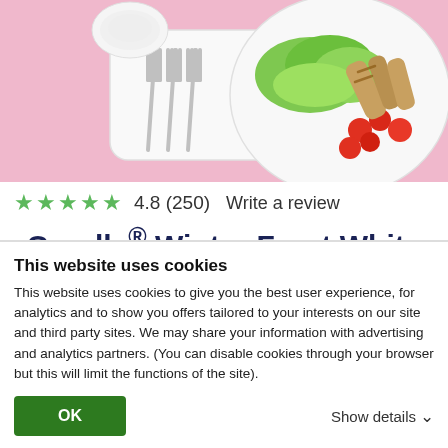[Figure (photo): Photo of white Corelle dishes with salad containing lettuce, cherry tomatoes, and grilled chicken strips, plus forks on a white plate, on a pink background]
★★★★★  4.8 (250)  Write a review
Corelle® Winter Frost White 6-ounce Mini Dip Bowl
Crisp, bright and classic, this white condiment and dip bowl is as versatile
This website uses cookies
This website uses cookies to give you the best user experience, for analytics and to show you offers tailored to your interests on our site and third party sites. We may share your information with advertising and analytics partners. (You can disable cookies through your browser but this will limit the functions of the site).
OK
Show details